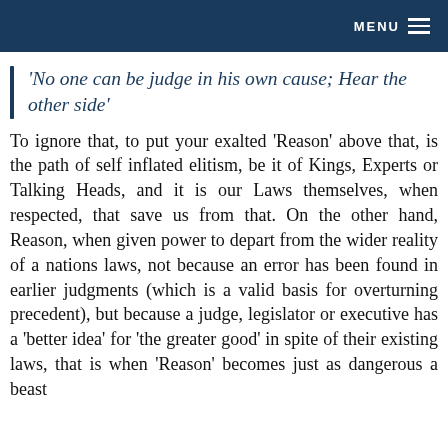MENU
‘No one can be judge in his own cause; Hear the other side’
To ignore that, to put your exalted ‘Reason’ above that, is the path of self inflated elitism, be it of Kings, Experts or Talking Heads, and it is our Laws themselves, when respected, that save us from that. On the other hand, Reason, when given power to depart from the wider reality of a nations laws, not because an error has been found in earlier judgments (which is a valid basis for overturning precedent), but because a judge, legislator or executive has a ‘better idea’ for ‘the greater good’ in spite of their existing laws, that is when ‘Reason’ becomes just as dangerous a beast